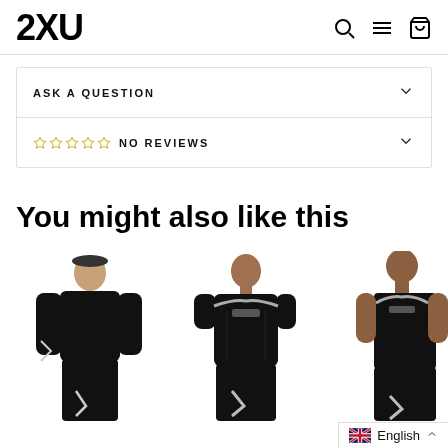2XU
ASK A QUESTION
☆☆☆☆☆ NO REVIEWS
You might also like this
[Figure (photo): Three 2XU athletes wearing black compression sportswear: a woman in long-sleeve top and tights, a man in short-sleeve compression shirt, and a man in sleeveless compression top.]
English